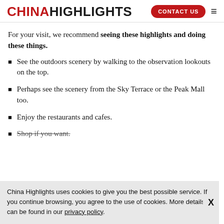CHINA HIGHLIGHTS | CONTACT US
For your visit, we recommend seeing these highlights and doing these things.
See the outdoors scenery by walking to the observation lookouts on the top.
Perhaps see the scenery from the Sky Terrace or the Peak Mall too.
Enjoy the restaurants and cafes.
Shop if you want.
China Highlights uses cookies to give you the best possible service. If you continue browsing, you agree to the use of cookies. More details can be found in our privacy policy.